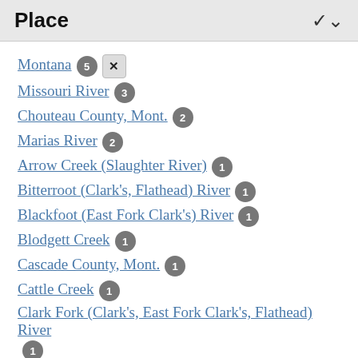Place
Montana 5 ✕
Missouri River 3
Chouteau County, Mont. 2
Marias River 2
Arrow Creek (Slaughter River) 1
Bitterroot (Clark's, Flathead) River 1
Blackfoot (East Fork Clark's) River 1
Blodgett Creek 1
Cascade County, Mont. 1
Cattle Creek 1
Clark Fork (Clark's, East Fork Clark's, Flathead) River 1
Crow Coulee 1
Cut Bank Creek (North Branch of Marias River) 1
Eagle (Stonewall) Creek 1
Fort Peck Reservoir ...